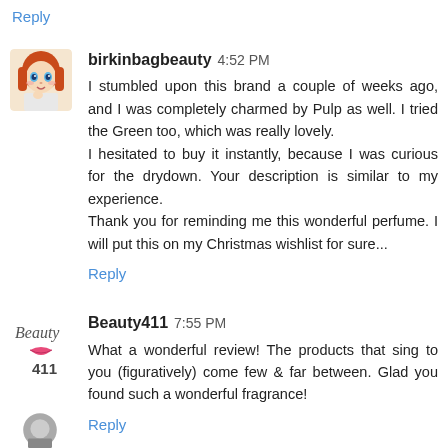Reply
birkinbagbeauty 4:52 PM
I stumbled upon this brand a couple of weeks ago, and I was completely charmed by Pulp as well. I tried the Green too, which was really lovely.
I hesitated to buy it instantly, because I was curious for the drydown. Your description is similar to my experience.
Thank you for reminding me this wonderful perfume. I will put this on my Christmas wishlist for sure...
Reply
Beauty411 7:55 PM
What a wonderful review! The products that sing to you (figuratively) come few & far between. Glad you found such a wonderful fragrance!
Reply